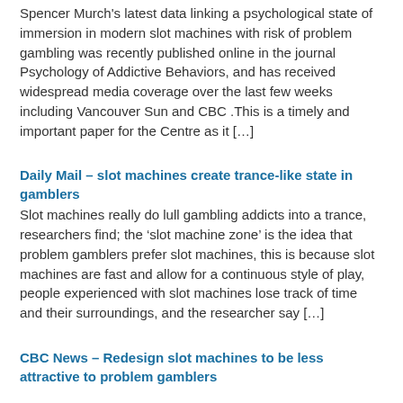Spencer Murch's latest data linking a psychological state of immersion in modern slot machines with risk of problem gambling was recently published online in the journal Psychology of Addictive Behaviors, and has received widespread media coverage over the last few weeks including Vancouver Sun and CBC .This is a timely and important paper for the Centre as it […]
Daily Mail – slot machines create trance-like state in gamblers
Slot machines really do lull gambling addicts into a trance, researchers find; the 'slot machine zone' is the idea that problem gamblers prefer slot machines, this is because slot machines are fast and allow for a continuous style of play, people experienced with slot machines lose track of time and their surroundings, and the researcher say […]
CBC News – Redesign slot machines to be less attractive to problem gamblers